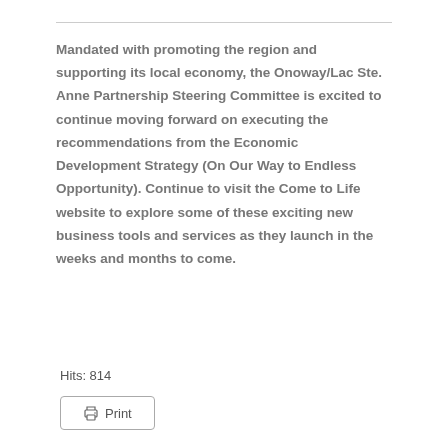Mandated with promoting the region and supporting its local economy, the Onoway/Lac Ste. Anne Partnership Steering Committee is excited to continue moving forward on executing the recommendations from the Economic Development Strategy (On Our Way to Endless Opportunity). Continue to visit the Come to Life website to explore some of these exciting new business tools and services as they launch in the weeks and months to come.
Hits: 814